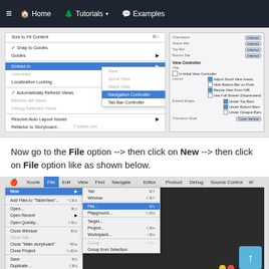≡  🏠 Home    🌲 Tutorials ▾    💬 Examples
[Figure (screenshot): Xcode Interface Builder screenshot showing the Editor menu with 'Embed In' highlighted and submenu showing 'Navigation Controller' selected, alongside the Interface Builder inspector panel on the right]
Now go to the File option --> then click on New --> then click on File option like as shown below.
[Figure (screenshot): Xcode menu bar screenshot showing File menu open with New submenu expanded, highlighting 'File...' option with shortcut ⌘N]